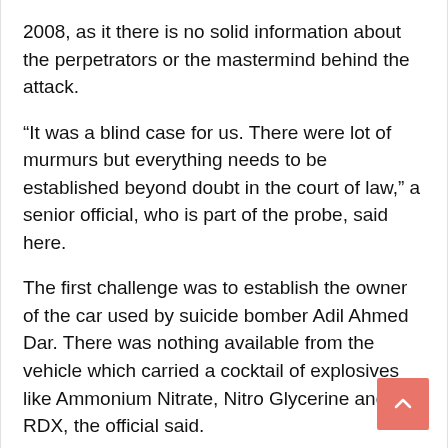2008, as it there is no solid information about the perpetrators or the mastermind behind the attack.
“It was a blind case for us. There were lot of murmurs but everything needs to be established beyond doubt in the court of law,” a senior official, who is part of the probe, said here.
The first challenge was to establish the owner of the car used by suicide bomber Adil Ahmed Dar. There was nothing available from the vehicle which carried a cocktail of explosives like Ammonium Nitrate, Nitro Glycerine and RDX, the official said.